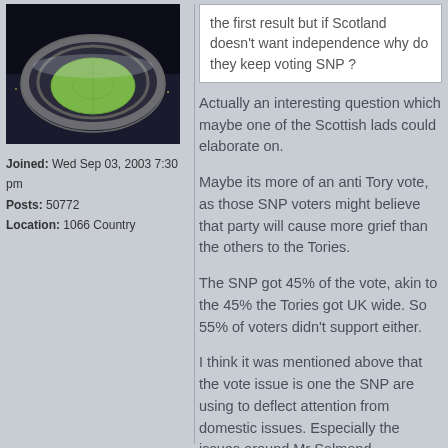[Figure (photo): Aerial night photo of a large stadium lit up from above, showing the oval roof and green pitch illuminated.]
Joined: Wed Sep 03, 2003 7:30 pm
Posts: 50772
Location: 1066 Country
the first result but if Scotland doesn't want independence why do they keep voting SNP ?
Actually an interesting question which maybe one of the Scottish lads could elaborate on.
Maybe its more of an anti Tory vote, as those SNP voters might believe that party will cause more grief than the others to the Tories.
The SNP got 45% of the vote, akin to the 45% the Tories got UK wide. So 55% of voters didn't support either.
I think it was mentioned above that the vote issue is one the SNP are using to deflect attention from domestic issues. Especially the issues around Mr Salmond.